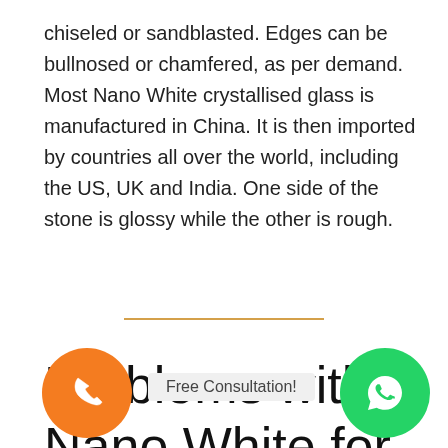chiseled or sandblasted. Edges can be bullnosed or chamfered, as per demand. Most Nano White crystallised glass is manufactured in China. It is then imported by countries all over the world, including the US, UK and India. One side of the stone is glossy while the other is rough.
Problems with Nano White for Indian Kitchen